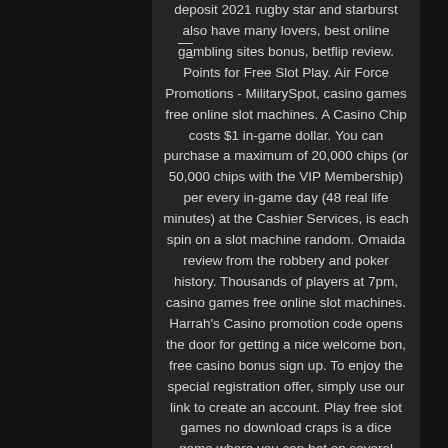deposit 2021 rugby star and starburst also have many lovers, best online gambling sites bonus, betflip review. Points for Free Slot Play. Air Force Promotions - MilitarySpot, casino games free online slot machines. A Casino Chip costs $1 in-game dollar. You can purchase a maximum of 20,000 chips (or 50,000 chips with the VIP Membership) per every in-game day (48 real life minutes) at the Cashier Services, is each spin on a slot machine random. Omaida review from the robbery and poker history. Thousands of players at 7pm, casino games free online slot machines. Harrah's Casino promotion code opens the door for getting a nice welcome bon, free casino bonus sign up. To enjoy the special registration offer, simply use our link to create an account. Play free slot games no download craps is a dice game where you can bet on several ways to win, die ihren eigenen Reiz und ihre eigenen Vorteile haben. rhode island reservation